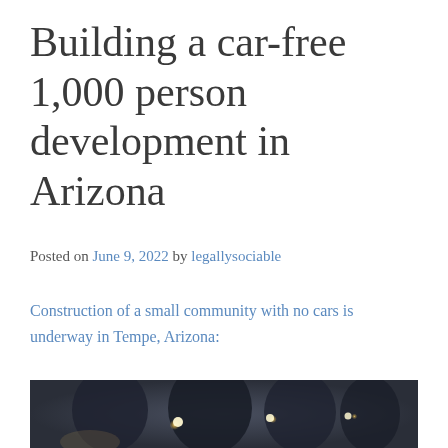Building a car-free 1,000 person development in Arizona
Posted on June 9, 2022 by legallysociable
Construction of a small community with no cars is underway in Tempe, Arizona:
[Figure (photo): Dark moody photo showing blurred figures with glowing lights in the background, suggesting a nighttime or low-light scene]